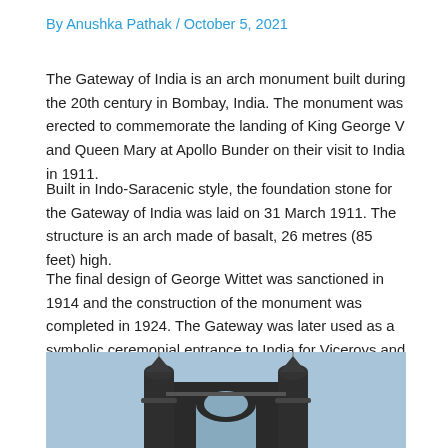By Anushka Pathak / October 5, 2021
The Gateway of India is an arch monument built during the 20th century in Bombay, India. The monument was erected to commemorate the landing of King George V and Queen Mary at Apollo Bunder on their visit to India in 1911.
Built in Indo-Saracenic style, the foundation stone for the Gateway of India was laid on 31 March 1911. The structure is an arch made of basalt, 26 metres (85 feet) high.
The final design of George Wittet was sanctioned in 1914 and the construction of the monument was completed in 1924. The Gateway was later used as a symbolic ceremonial entrance to India for Viceroys and the new Governors of Bombay.  It served to allow entry and access to India.
[Figure (photo): Photograph of the Gateway of India monument showing its two ornate towers against a blue sky, viewed from below.]